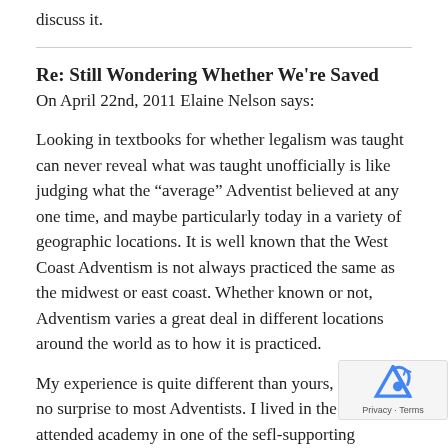discuss it.
Re: Still Wondering Whether We're Saved
On April 22nd, 2011 Elaine Nelson says:
Looking in textbooks for whether legalism was taught can never reveal what was taught unofficially is like judging what the "average" Adventist believed at any one time, and maybe particularly today in a variety of geographic locations. It is well known that the West Coast Adventism is not always practiced the same as the midwest or east coast. Whether known or not, Adventism varies a great deal in different locations around the world as to how it is practiced.
My experience is quite different than yours, which is no surprise to most Adventists. I lived in the South a attended academy in one of the sefl-supporting institutions where EGW was the guide for what